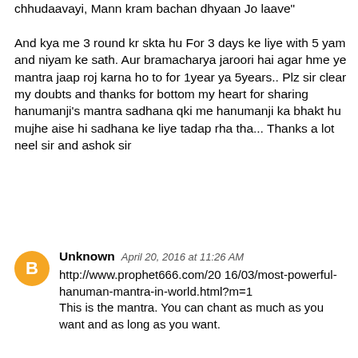chhudaavayi, Mann kram bachan dhyaan Jo laave"

And kya me 3 round kr skta hu For 3 days ke liye with 5 yam and niyam ke sath. Aur bramacharya jaroori hai agar hme ye mantra jaap roj karna ho to for 1year ya 5years.. Plz sir clear my doubts and thanks for bottom my heart for sharing hanumanji's mantra sadhana qki me hanumanji ka bhakt hu mujhe aise hi sadhana ke liye tadap rha tha... Thanks a lot neel sir and ashok sir
Unknown April 20, 2016 at 11:26 AM
http://www.prophet666.com/2016/03/most-powerful-hanuman-mantra-in-world.html?m=1
This is the mantra. You can chant as much as you want and as long as you want.